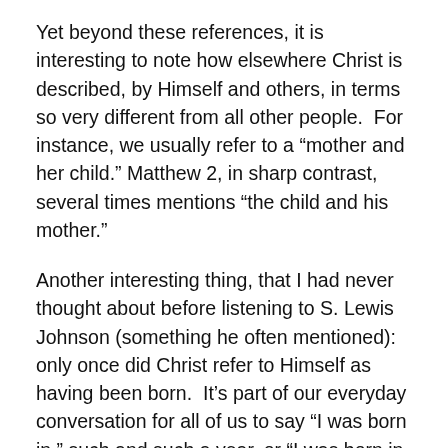Yet beyond these references, it is interesting to note how elsewhere Christ is described, by Himself and others, in terms so very different from all other people.  For instance, we usually refer to a “mother and her child.” Matthew 2, in sharp contrast, several times mentions “the child and his mother.”
Another interesting thing, that I had never thought about before listening to S. Lewis Johnson (something he often mentioned):  only once did Christ refer to Himself as having been born.  It’s part of our everyday conversation for all of us to say “I was born in ” such and such a year, or “I was born in ” (fill-in-the-blank) city or state location.  Christ repeatedly referred to Himself as being sent, as having come into the world.  Only once did He say that He was born – in John 18:37, to a Gentile king, Pilate, who would not have understood Christ’s normal language.